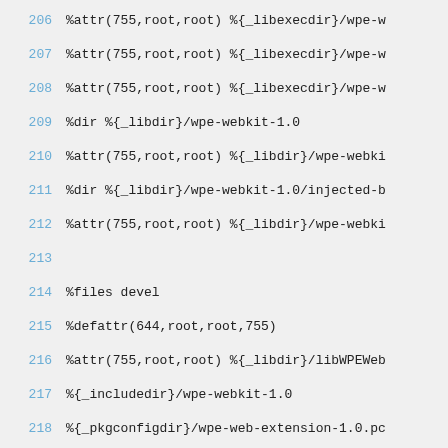206   %attr(755,root,root) %{_libexecdir}/wpe-w
207   %attr(755,root,root) %{_libexecdir}/wpe-w
208   %attr(755,root,root) %{_libexecdir}/wpe-w
209   %dir %{_libdir}/wpe-webkit-1.0
210   %attr(755,root,root) %{_libdir}/wpe-webki
211   %dir %{_libdir}/wpe-webkit-1.0/injected-b
212   %attr(755,root,root) %{_libdir}/wpe-webki
213
214   %files devel
215   %defattr(644,root,root,755)
216   %attr(755,root,root) %{_libdir}/libWPEWeb
217   %{_includedir}/wpe-webkit-1.0
218   %{_pkgconfigdir}/wpe-web-extension-1.0.pc
219   %{_pkgconfigdir}/wpe-webkit-1.0.pc
220
221   %files sridoc